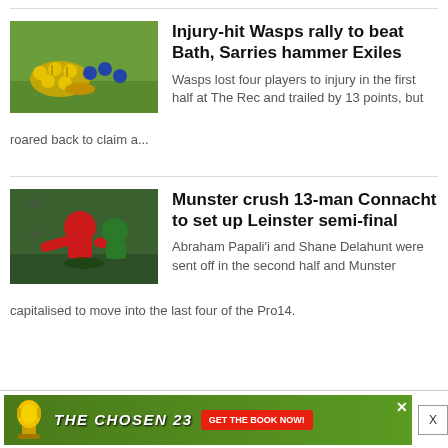[Figure (photo): Rugby players in yellow jerseys in a huddle on a green pitch]
Injury-hit Wasps rally to beat Bath, Sarries hammer Exiles
Wasps lost four players to injury in the first half at The Rec and trailed by 13 points, but roared back to claim a...
[Figure (photo): Rugby player in red jersey tackling opponent in green kit]
Munster crush 13-man Connacht to set up Leinster semi-final
Abraham Papali'i and Shane Delahunt were sent off in the second half and Munster capitalised to move into the last four of the Pro14.
[Figure (infographic): The Chosen 23 advertisement banner with green background and red call-to-action button]